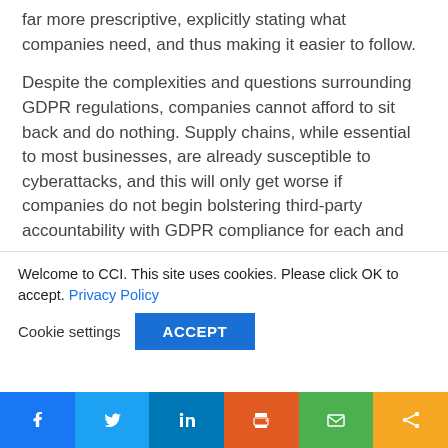far more prescriptive, explicitly stating what companies need, and thus making it easier to follow.

Despite the complexities and questions surrounding GDPR regulations, companies cannot afford to sit back and do nothing. Supply chains, while essential to most businesses, are already susceptible to cyberattacks, and this will only get worse if companies do not begin bolstering third-party accountability with GDPR compliance for each and every
Welcome to CCI. This site uses cookies. Please click OK to accept. Privacy Policy
Cookie settings  ACCEPT
[Figure (other): Social sharing bar with Facebook, Twitter, LinkedIn, Print, Email, and Share buttons]